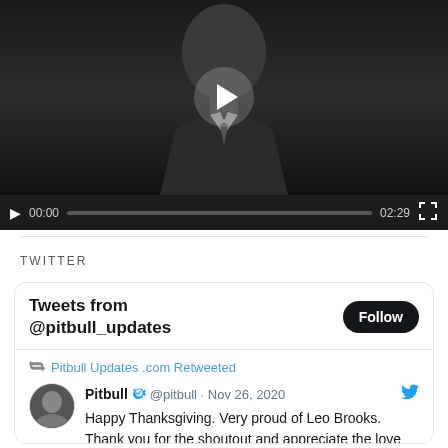[Figure (screenshot): Video player with dark thumbnail showing a man in a suit, play button overlay, and controls bar showing 00:00 / 02:29]
TWITTER
[Figure (screenshot): Twitter widget showing Tweets from @pitbull_updates with a Follow button, and a retweet from Pitbull (@pitbull) on Nov 26, 2020: 'Happy Thanksgiving. Very proud of Leo Brooks. Thank you for the shoutout and appreciate the love on the record. This could not have happened to a better']